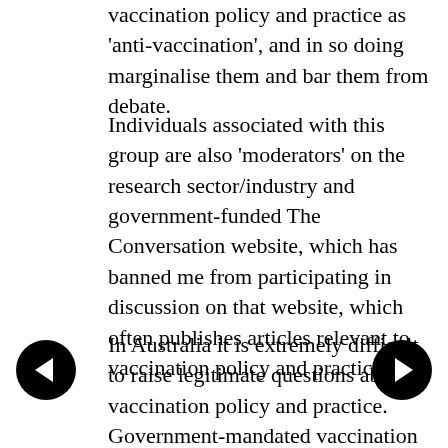vaccination policy and practice as 'anti-vaccination', and in so doing marginalise them and bar them from debate.
Individuals associated with this group are also 'moderators' on the research sector/industry and government-funded The Conversation website, which has banned me from participating in discussion on that website, which often publishes articles relevant to vaccination policy and practice.
In Australia it is extremely difficult to raise legitimate questions about vaccination policy and practice. Government-mandated vaccination policies to access financial benefits, and childcare and pre-school, are being rammed through here, with the Australian Government's conflicted